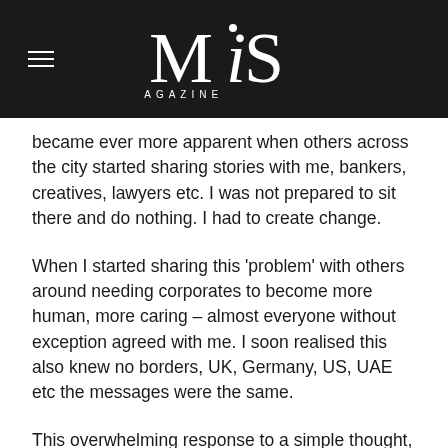MiS MAGAZINE
became ever more apparent when others across the city started sharing stories with me, bankers, creatives, lawyers etc. I was not prepared to sit there and do nothing. I had to create change.
When I started sharing this 'problem' with others around needing corporates to become more human, more caring – almost everyone without exception agreed with me. I soon realised this also knew no borders, UK, Germany, US, UAE etc the messages were the same.
This overwhelming response to a simple thought, proved to me that this idea needed to be driven further. It's for that reason I took the big leap and left the corporate world.